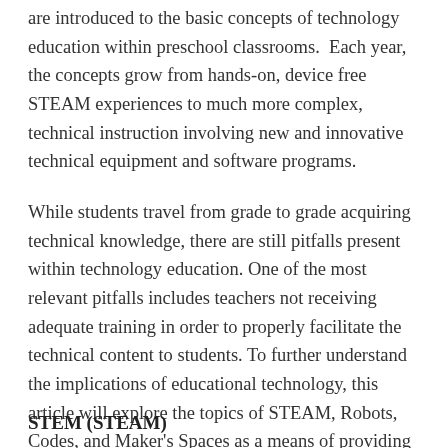are introduced to the basic concepts of technology education within preschool classrooms.  Each year, the concepts grow from hands-on, device free STEAM experiences to much more complex, technical instruction involving new and innovative technical equipment and software programs.
While students travel from grade to grade acquiring technical knowledge, there are still pitfalls present within technology education. One of the most relevant pitfalls includes teachers not receiving adequate training in order to properly facilitate the technical content to students. To further understand the implications of educational technology, this article will explore the topics of STEAM, Robots, Codes, and Maker's Spaces as a means of providing developments within the field.
STEM (STEAM)